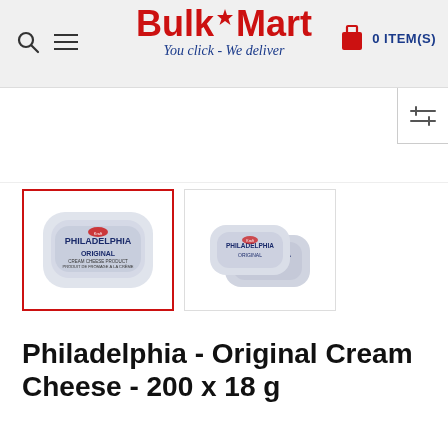BulkMart — You click - We deliver | 0 ITEM(S)
[Figure (screenshot): BulkMart website product page showing Philadelphia Original Cream Cheese 200 x 18 g]
[Figure (photo): Philadelphia Original Cream Cheese single portion cup - close up, selected thumbnail]
[Figure (photo): Philadelphia Original Cream Cheese multiple portion cups stacked - second thumbnail]
Philadelphia - Original Cream Cheese - 200 x 18 g